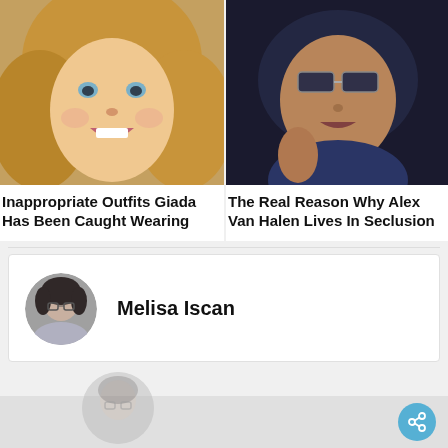[Figure (photo): Close-up photo of a smiling blonde woman]
Inappropriate Outfits Giada Has Been Caught Wearing
[Figure (photo): Man wearing sunglasses in a dark scene]
The Real Reason Why Alex Van Halen Lives In Seclusion
[Figure (photo): Circular avatar photo of Melisa Iscan]
Melisa Iscan